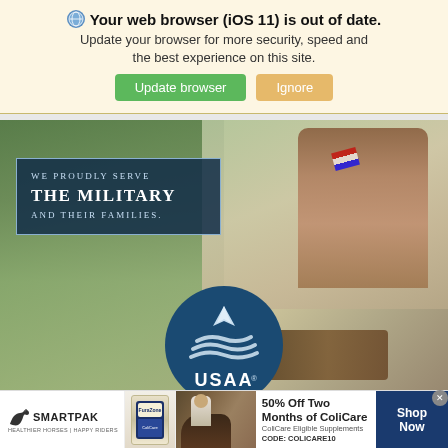🌐 Your web browser (iOS 11) is out of date. Update your browser for more security, speed and the best experience on this site. [Update browser] [Ignore]
[Figure (advertisement): USAA advertisement banner showing a child with an American flag and military boots on a log, with text 'WE PROUDLY SERVE THE MILITARY AND THEIR FAMILIES.' and USAA logo circle]
[Figure (advertisement): SmartPak advertisement: '50% Off Two Months of ColiCare, ColiCare Eligible Supplements, CODE: COLICARE10' with Shop Now button, SmartPak logo, product image, and horse image]